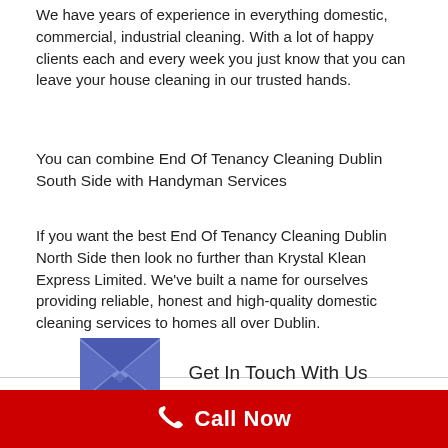We have years of experience in everything domestic, commercial, industrial cleaning. With a lot of happy clients each and every week you just know that you can leave your house cleaning in our trusted hands.
You can combine End Of Tenancy Cleaning Dublin South Side with Handyman Services
If you want the best End Of Tenancy Cleaning Dublin North Side then look no further than Krystal Klean Express Limited. We've built a name for ourselves providing reliable, honest and high-quality domestic cleaning services to homes all over Dublin.
[Figure (illustration): Blue envelope/letter icon]
Get In Touch With Us
This website uses cookies to improve your experience. Pre
Call Now